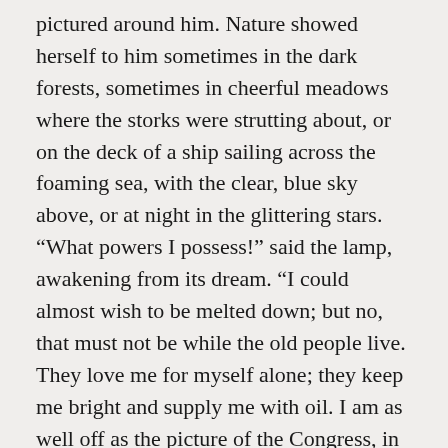pictured around him. Nature showed herself to him sometimes in the dark forests, sometimes in cheerful meadows where the storks were strutting about, or on the deck of a ship sailing across the foaming sea, with the clear, blue sky above, or at night in the glittering stars. “What powers I possess!” said the lamp, awakening from its dream. “I could almost wish to be melted down; but no, that must not be while the old people live. They love me for myself alone; they keep me bright and supply me with oil. I am as well off as the picture of the Congress, in which they take so much pleasure.” And from that time it felt at rest in itself, and not more so than such an honorable old lamp really deserved to be.